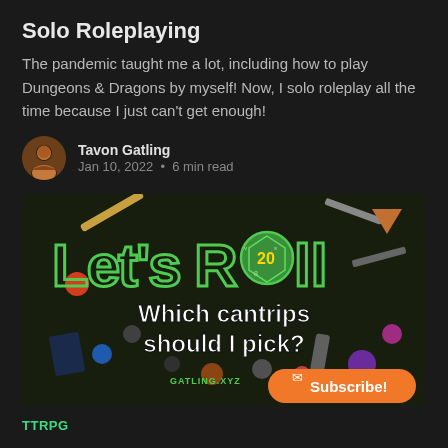Solo Roleplaying
The pandemic taught me a lot, including how to play Dungeons & Dragons by myself! Now, I solo roleplay all the time because I just can't get enough!
Tavon Gatling
Jan 10, 2022 • 6 min read
[Figure (illustration): Let's Roll promotional image — text 'Let's Roll' in green outlined letters with a D20 die replacing the 'o', subtitle 'Which cantrips should I pick?' in white bold text, 'GATLING.XYZ' watermark, orange Subscribe button, dark background with D&D tabletop items]
TTRPG